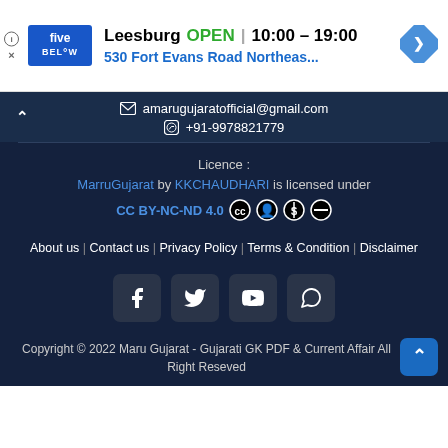[Figure (screenshot): Advertisement banner for Five Below store in Leesburg showing OPEN status and hours 10:00-19:00, address 530 Fort Evans Road Northeas...]
amarugujaratofficial@gmail.com
+91-9978821779
Licence :
MarruGujarat by KKCHAUDHARI is licensed under
CC BY-NC-ND 4.0
About us | Contact us | Privacy Policy | Terms & Condition | Disclaimer
[Figure (screenshot): Social media icon buttons: Facebook, Twitter, YouTube, WhatsApp]
Copyright © 2022 Maru Gujarat - Gujarati GK PDF & Current Affair All Right Reseved